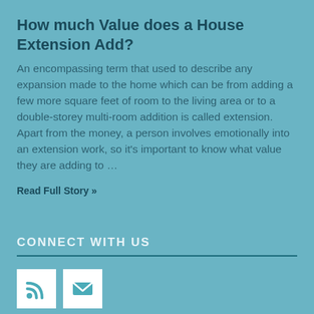How much Value does a House Extension Add?
An encompassing term that used to describe any expansion made to the home which can be from adding a few more square feet of room to the living area or to a double-storey multi-room addition is called extension. Apart from the money, a person involves emotionally into an extension work, so it's important to know what value they are adding to …
Read Full Story »
CONNECT WITH US
[Figure (infographic): Two social media icon boxes on white background: RSS feed icon and email/envelope icon, both in teal color on white square tiles.]